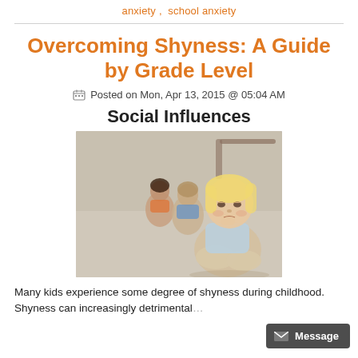anxiety , school anxiety
Overcoming Shyness: A Guide by Grade Level
Posted on Mon, Apr 13, 2015 @ 05:04 AM
Social Influences
[Figure (photo): A young blonde girl sitting alone, looking sad, while two other children sit in the background talking to each other — depicting social exclusion or shyness.]
Many kids experience some degree of shyness during childhood. Shyness can increasingly detrimental as a child grows and starts to have more contact with the outside world, not to